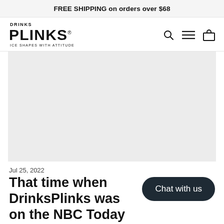FREE SHIPPING on orders over $68
[Figure (logo): DrinksPlinks logo — 'DRINKS' in small caps above large 'PLINKS' wordmark with registered trademark symbol, tagline 'ICE SHAPES WITH ATTITUDE' below]
[Figure (photo): Large light gray placeholder hero image area]
Jul 25, 2022
That time when DrinksPlinks was on the NBC Today Show